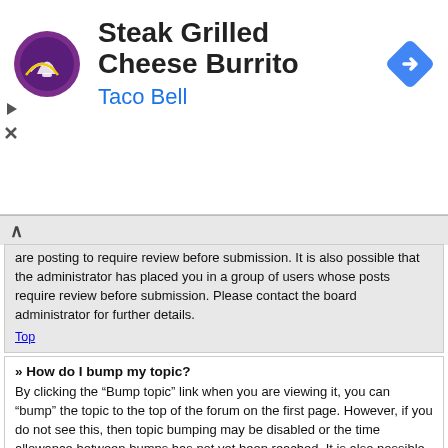[Figure (illustration): Advertisement banner: Taco Bell logo on left, title 'Steak Grilled Cheese Burrito', subtitle 'Taco Bell' in blue, navigation diamond icon on upper right]
are posting to require review before submission. It is also possible that the administrator has placed you in a group of users whose posts require review before submission. Please contact the board administrator for further details.
Top
» How do I bump my topic?
By clicking the “Bump topic” link when you are viewing it, you can “bump” the topic to the top of the forum on the first page. However, if you do not see this, then topic bumping may be disabled or the time allowance between bumps has not yet been reached. It is also possible to bump the topic simply by replying to it, however, be sure to follow the board rules when doing so.
Top
Formatting and Topic Types
» What is BBCode?
BBCode is a special implementation of HTML, offering great